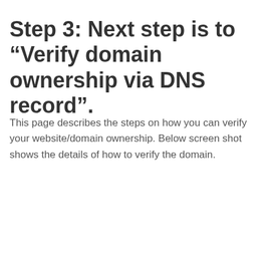Step 3: Next step is to “Verify domain ownership via DNS record”.
This page describes the steps on how you can verify your website/domain ownership. Below screen shot shows the details of how to verify the domain.